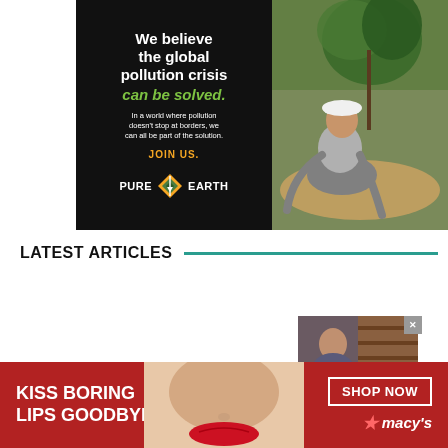[Figure (illustration): Pure Earth advertisement with black left panel showing 'We believe the global pollution crisis can be solved.' headline in white/green, 'In a world where pollution doesn't stop at borders, we can all be part of the solution.' body text, 'JOIN US.' call to action in orange, and PURE EARTH logo. Right panel shows a photo of a man in a hard hat planting a tree.]
LATEST ARTICLES
[Figure (photo): Small thumbnail image of a person, partially visible, with dark background and bookshelves.]
[Figure (illustration): Macy's advertisement with red background. Left text: 'KISS BORING LIPS GOODBYE'. Center shows a woman's face with red lips. Right side has 'SHOP NOW' button and Macy's star logo.]